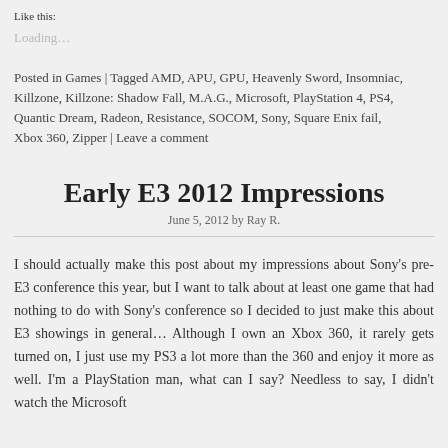Like this:
Loading...
Posted in Games | Tagged AMD, APU, GPU, Heavenly Sword, Insomniac, Killzone, Killzone: Shadow Fall, M.A.G., Microsoft, PlayStation 4, PS4, Quantic Dream, Radeon, Resistance, SOCOM, Sony, Square Enix fail, Xbox 360, Zipper | Leave a comment
Early E3 2012 Impressions
June 5, 2012 by Ray R.
I should actually make this post about my impressions about Sony's pre-E3 conference this year, but I want to talk about at least one game that had nothing to do with Sony's conference so I decided to just make this about E3 showings in general... Although I own an Xbox 360, it rarely gets turned on, I just use my PS3 a lot more than the 360 and enjoy it more as well. I'm a PlayStation man, what can I say? Needless to say, I didn't watch the Microsoft